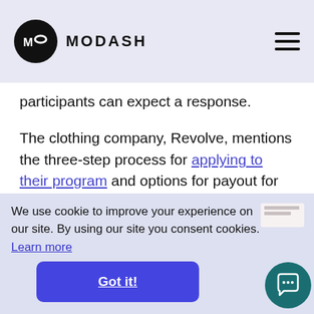MODASH
participants can expect a response.
The clothing company, Revolve, mentions the three-step process for applying to their program and options for payout for ambassadors.
We use cookie to improve your experience on our site. By using our site you consent cookies. Learn more
Got it!